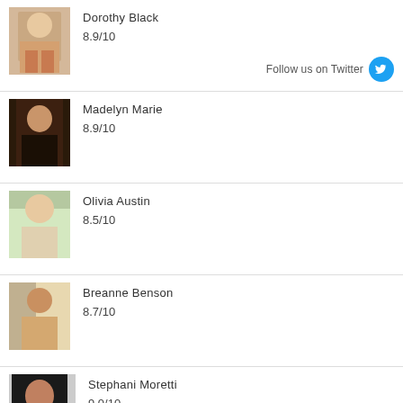Dorothy Black
8.9/10
Madelyn Marie
8.9/10
Olivia Austin
8.5/10
Breanne Benson
8.7/10
Stephani Moretti
9.0/10